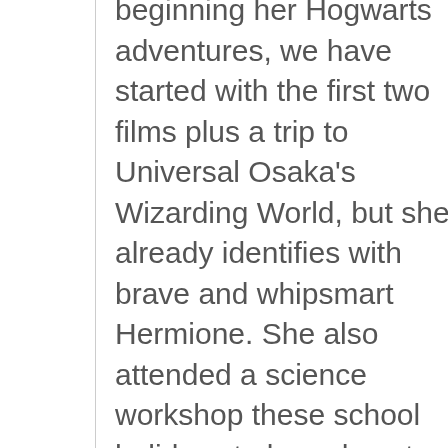beginning her Hogwarts adventures, we have started with the first two films plus a trip to Universal Osaka's Wizarding World, but she already identifies with brave and whipsmart Hermione. She also attended a science workshop these school holidays to learn how to make potions – I love that these books, films and merchandise inspire kids to learn, be strong and be kind. She would